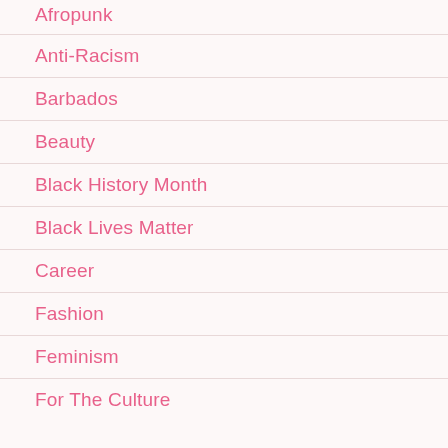Afropunk
Anti-Racism
Barbados
Beauty
Black History Month
Black Lives Matter
Career
Fashion
Feminism
For The Culture